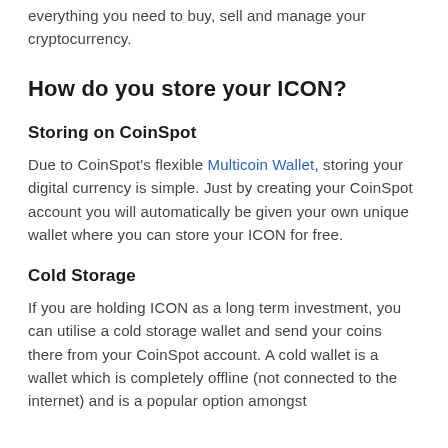everything you need to buy, sell and manage your cryptocurrency.
How do you store your ICON?
Storing on CoinSpot
Due to CoinSpot's flexible Multicoin Wallet, storing your digital currency is simple. Just by creating your CoinSpot account you will automatically be given your own unique wallet where you can store your ICON for free.
Cold Storage
If you are holding ICON as a long term investment, you can utilise a cold storage wallet and send your coins there from your CoinSpot account. A cold wallet is a wallet which is completely offline (not connected to the internet) and is a popular option amongst